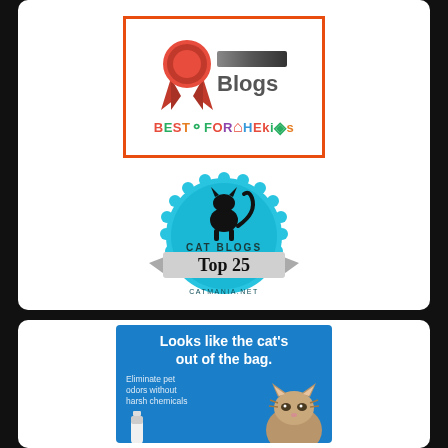[Figure (logo): Best For The Kids Blogs badge with red ribbon and colorful wordmark BESTFORTHEKIDS]
[Figure (logo): Cat Blogs Top 25 badge from catmania.net with cyan scalloped circle, cat silhouette, ribbon banner and serif text]
[Figure (photo): Advertisement: blue background with white text 'Looks like the cat's out of the bag.' and small text 'Eliminate pet odors without harsh chemicals', with kitten photo and product bottle]